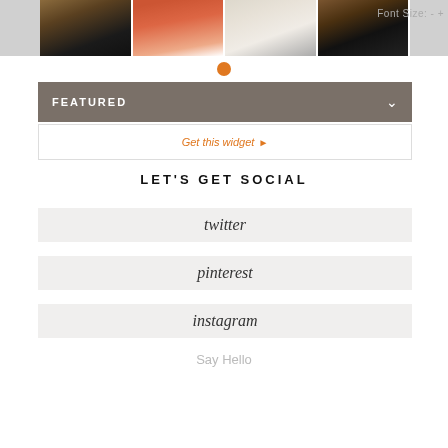[Figure (photo): Strip of four fashion photos showing models wearing various outfits, partial view at top of page]
Font Size: - +
[Figure (other): Orange dot carousel indicator]
FEATURED
Get this widget ▶
LET'S GET SOCIAL
twitter
pinterest
instagram
Say Hello